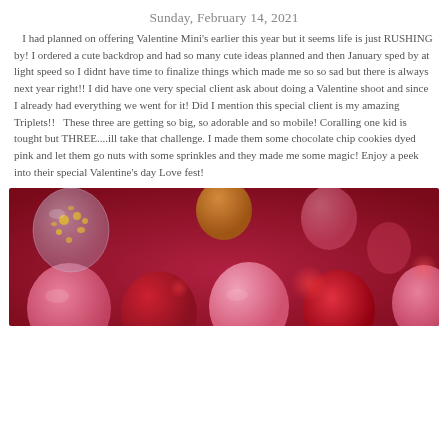Sunday, February 14, 2021
I had planned on offering Valentine Mini's earlier this year but it seems life is just RUSHING by! I ordered a cute backdrop and had so many cute ideas planned and then January sped by at light speed so I didnt have time to finalize things which made me so so sad but there is always next year right!! I did have one very special client ask about doing a Valentine shoot and since I already had everything we went for it! Did I mention this special client is my amazing Triplets!! These three are getting so big, so adorable and so mobile! Coralling one kid is tought but THREE....ill take that challenge. I made them some chocolate chip cookies dyed pink and let them go nuts with some sprinkles and they made me some magic! Enjoy a peek into their special Valentine's day Love fest!
[Figure (photo): Photo of pink and red balloons with bokeh lighting on a pink/red background, with a confetti balloon visible in the upper left]